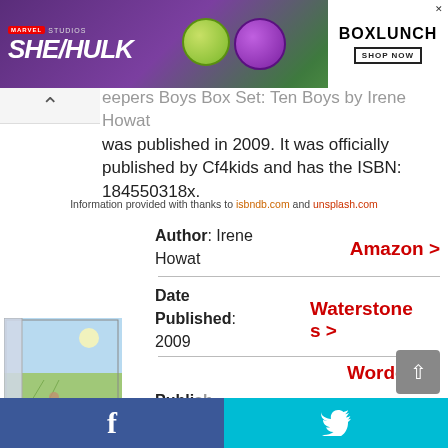[Figure (screenshot): Advertisement banner for She-Hulk Marvel Studios and BoxLunch Shop Now]
eepers Boys Box Set: Ten Boys by Irene Howat was published in 2009. It was officially published by Cf4kids and has the ISBN: 184550318x.
Information provided with thanks to isbndb.com and unsplash.com
Author: Irene Howat
Amazon >
Date Published: 2009
Waterstones >
Wordery >
[Figure (photo): Book cover image for Keepers Boys Box Set: Ten Boys by Irene Howat, showing a pastoral countryside scene]
Publi...